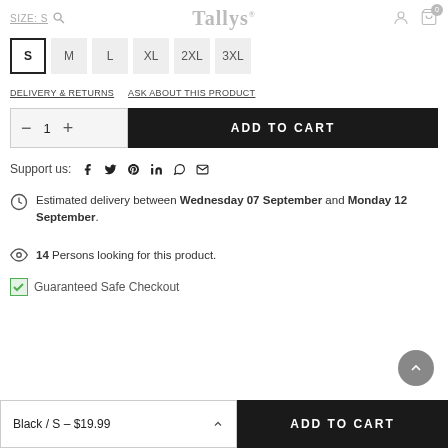Tallys
SIZE: S
S  M  L  XL  2XL  3XL
DELIVERY & RETURNS   ASK ABOUT THIS PRODUCT
- 1 + ADD TO CART
Support us: (social icons)
Estimated delivery between Wednesday 07 September and Monday 12 September.
14 Persons looking for this product.
Guaranteed Safe Checkout
Black / S - $19.99  ADD TO CART